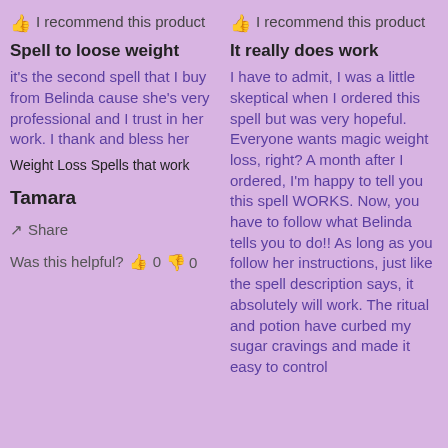👍 I recommend this product
Spell to loose weight
it's the second spell that I buy from Belinda cause she's very professional and I trust in her work. I thank and bless her
Weight Loss Spells that work
Tamara
↗ Share
Was this helpful? 👍 0 👎 0
👍 I recommend this product
It really does work
I have to admit, I was a little skeptical when I ordered this spell but was very hopeful. Everyone wants magic weight loss, right?  A month after I ordered, I'm happy to tell you this spell WORKS. Now, you have to follow what Belinda tells you to do!! As long as you follow her instructions, just like the spell description says, it absolutely will work. The ritual and potion have curbed my sugar cravings and made it easy to control